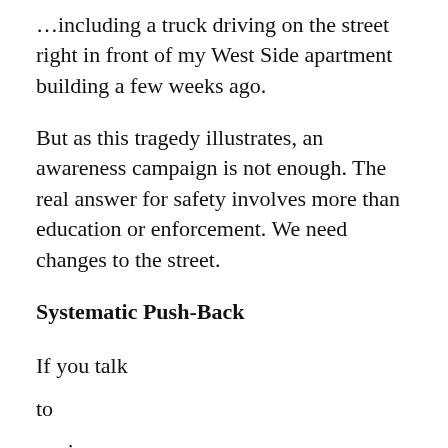...including a truck driving on the street right in front of my West Side apartment building a few weeks ago.
But as this tragedy illustrates, an awareness campaign is not enough. The real answer for safety involves more than education or enforcement. We need changes to the street.
Systematic Push-Back
If you talk
to
engineers
or
planners,
everyone
knows
what the